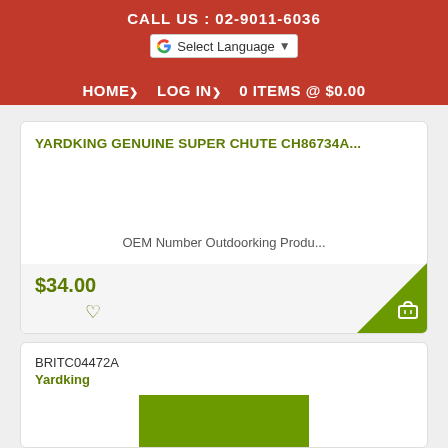CALL US : 02-9011-6036
Select Language
HOME › LOG IN › 0 ITEMS @ $0.00
YARDKING GENUINE SUPER CHUTE CH86734A...
OEM Number Outdoorking Produ...
$34.00
BRITC04472A
Yardking